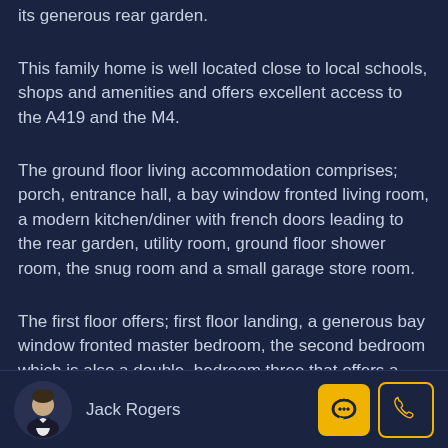its generous rear garden.
This family home is well located close to local schools, shops and amenities and offers excellent access to the A419 and the M4.
The ground floor living accommodation comprises; porch, entrance hall, a bay window fronted living room, a modern kitchen/diner with french doors leading to the rear garden, utility room, ground floor shower room, the snug room and a small garage store room.
The first floor offers; first floor landing, a generous bay window fronted master bedroom, the second bedroom which is also a double, bedroom three that offers a fitted wardrobe plus the main family
Jack Rogers